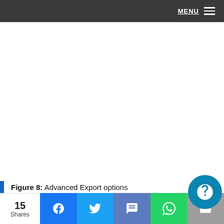MENU
[Figure (screenshot): Blank white content area representing a screenshot of Advanced Export options interface]
Figure 8: Advanced Export options
15 Shares